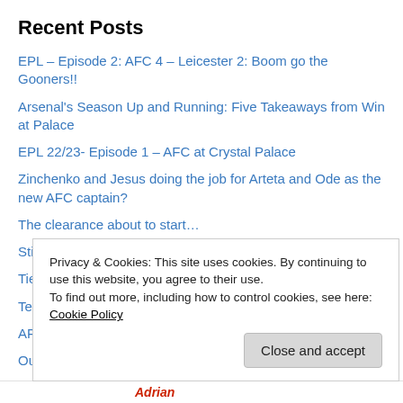Recent Posts
EPL – Episode 2: AFC 4 – Leicester 2: Boom go the Gooners!!
Arsenal's Season Up and Running: Five Takeaways from Win at Palace
EPL 22/23- Episode 1 – AFC at Crystal Palace
Zinchenko and Jesus doing the job for Arteta and Ode as the new AFC captain?
The clearance about to start…
Still some work to do…
Tielemans, Milinko-Savic, Paqueta…
Test
AFC do Gabi do Brazil…
Our back line…
Privacy & Cookies: This site uses cookies. By continuing to use this website, you agree to their use. To find out more, including how to control cookies, see here: Cookie Policy
Close and accept
Adrian